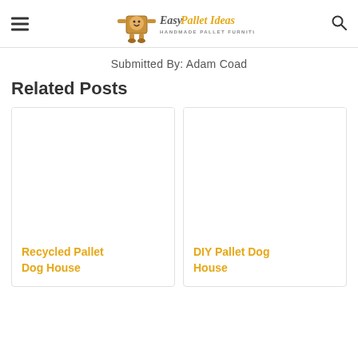Easy Pallet Ideas - Handmade Pallet Furniture
Submitted By: Adam Coad
Related Posts
[Figure (illustration): Card placeholder image area for Recycled Pallet Dog House]
Recycled Pallet Dog House
[Figure (illustration): Card placeholder image area for DIY Pallet Dog House]
DIY Pallet Dog House